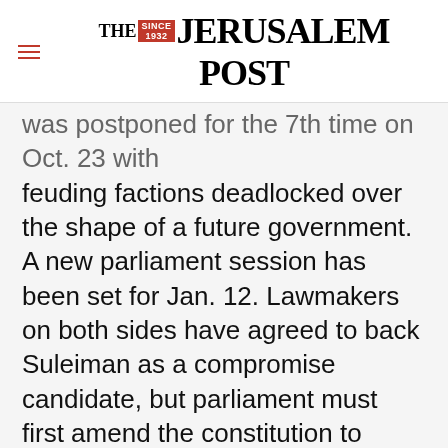THE JERUSALEM POST
was postponed for the 7th time on Oct. 23 with feuding factions deadlocked over the shape of a future government. A new parliament session has been set for Jan. 12. Lawmakers on both sides have agreed to back Suleiman as a compromise candidate, but parliament must first amend the constitution to allow a sitting military chief to become president. This process has been complicated by the opposition's demand for a new unity government that would give it veto
Advertisement